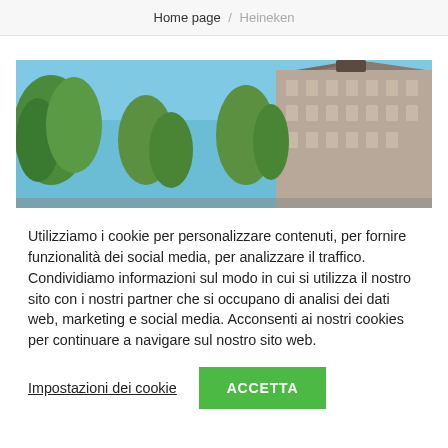Home page / Heineken
[Figure (photo): Wide-angle photo of historic building facade with trees against a blue sky, viewed from street level looking upward.]
Utilizziamo i cookie per personalizzare contenuti, per fornire funzionalità dei social media, per analizzare il traffico. Condividiamo informazioni sul modo in cui si utilizza il nostro sito con i nostri partner che si occupano di analisi dei dati web, marketing e social media. Acconsenti ai nostri cookies per continuare a navigare sul nostro sito web.
Impostazioni dei cookie   ACCETTA